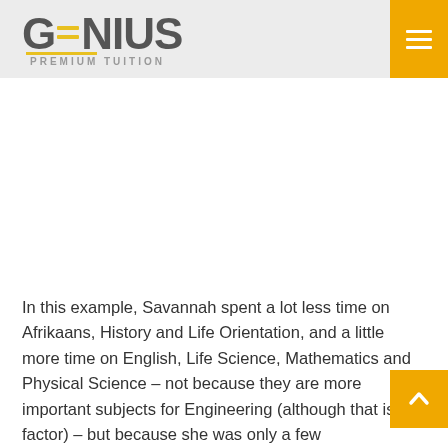GENIUS PREMIUM TUITION
In this example, Savannah spent a lot less time on Afrikaans, History and Life Orientation, and a little more time on English, Life Science, Mathematics and Physical Science – not because they are more important subjects for Engineering (although that is a factor) – but because she was only a few